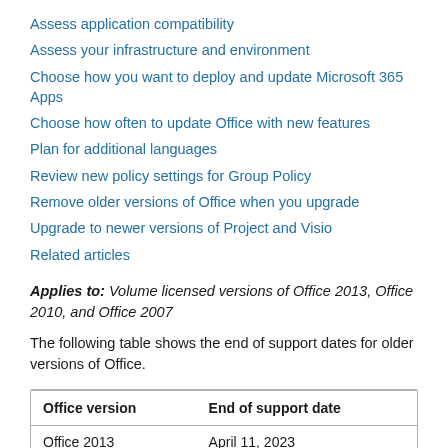Assess application compatibility
Assess your infrastructure and environment
Choose how you want to deploy and update Microsoft 365 Apps
Choose how often to update Office with new features
Plan for additional languages
Review new policy settings for Group Policy
Remove older versions of Office when you upgrade
Upgrade to newer versions of Project and Visio
Related articles
Applies to: Volume licensed versions of Office 2013, Office 2010, and Office 2007
The following table shows the end of support dates for older versions of Office.
| Office version | End of support date |
| --- | --- |
| Office 2013 | April 11, 2023 |